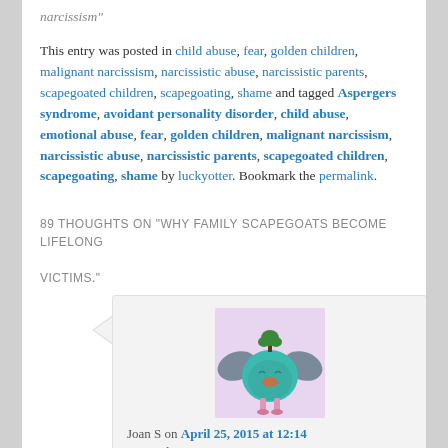narcissism"
This entry was posted in child abuse, fear, golden children, malignant narcissism, narcissistic abuse, narcissistic parents, scapegoated children, scapegoating, shame and tagged Aspergers syndrome, avoidant personality disorder, child abuse, emotional abuse, fear, golden children, malignant narcissism, narcissistic abuse, narcissistic parents, scapegoated children, scapegoating, shame by luckyotter. Bookmark the permalink.
89 THOUGHTS ON "WHY FAMILY SCAPEGOATS BECOME LIFELONG VICTIMS."
[Figure (illustration): A cartoon-style illustration of a teal/blue round creature with bat wings, a small tree/plant on top of its head, and pink legs, on a pink/lavender background.]
Joan S on April 25, 2015 at 12:14 pm said:
Me too. I had to miss out so much